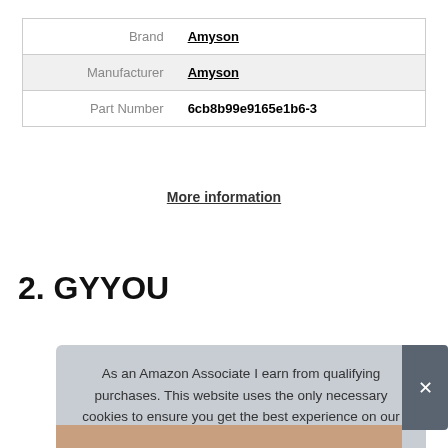|  |  |
| --- | --- |
| Brand | Amyson |
| Manufacturer | Amyson |
| Part Number | 6cb8b99e9165e1b6-3 |
More information
2. GYYOU
As an Amazon Associate I earn from qualifying purchases. This website uses the only necessary cookies to ensure you get the best experience on our website. More information